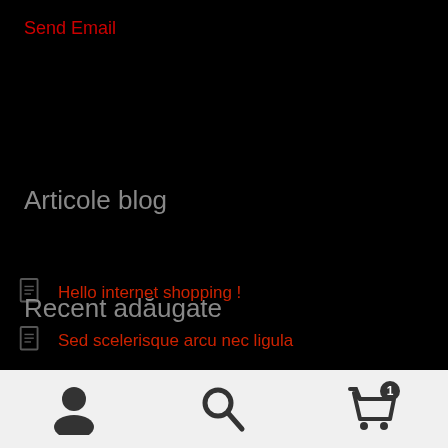Send Email
Articole blog
Hello internet shopping !
Sed scelerisque arcu nec ligula
Recent adăugate
[Figure (infographic): Bottom navigation bar with user icon, search icon, and shopping cart icon with badge showing count 1]